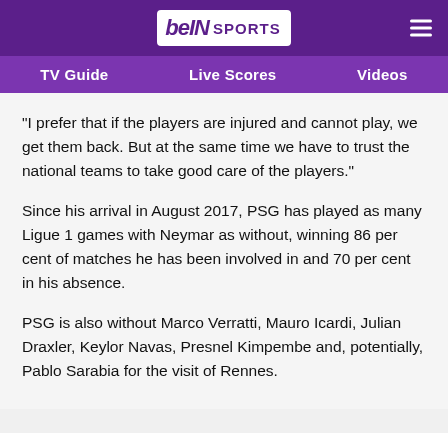beIN SPORTS
TV Guide | Live Scores | Videos
"I prefer that if the players are injured and cannot play, we get them back. But at the same time we have to trust the national teams to take good care of the players."
Since his arrival in August 2017, PSG has played as many Ligue 1 games with Neymar as without, winning 86 per cent of matches he has been involved in and 70 per cent in his absence.
PSG is also without Marco Verratti, Mauro Icardi, Julian Draxler, Keylor Navas, Presnel Kimpembe and, potentially, Pablo Sarabia for the visit of Rennes.